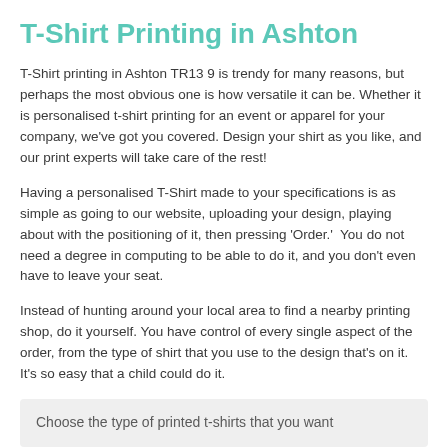T-Shirt Printing in Ashton
T-Shirt printing in Ashton TR13 9 is trendy for many reasons, but perhaps the most obvious one is how versatile it can be. Whether it is personalised t-shirt printing for an event or apparel for your company, we've got you covered. Design your shirt as you like, and our print experts will take care of the rest!
Having a personalised T-Shirt made to your specifications is as simple as going to our website, uploading your design, playing about with the positioning of it, then pressing 'Order.'  You do not need a degree in computing to be able to do it, and you don't even have to leave your seat.
Instead of hunting around your local area to find a nearby printing shop, do it yourself. You have control of every single aspect of the order, from the type of shirt that you use to the design that's on it. It's so easy that a child could do it.
Choose the type of printed t-shirts that you want